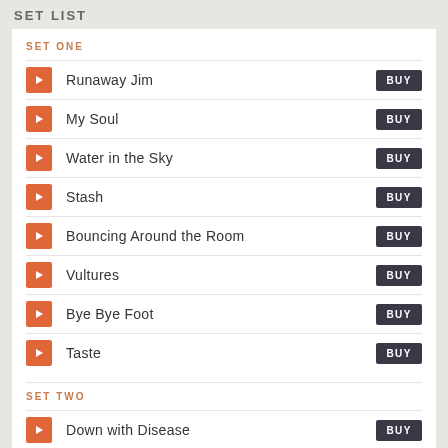SET LIST
SET ONE
Runaway Jim
My Soul
Water in the Sky
Stash
Bouncing Around the Room
Vultures
Bye Bye Foot
Taste
SET TWO
Down with Disease